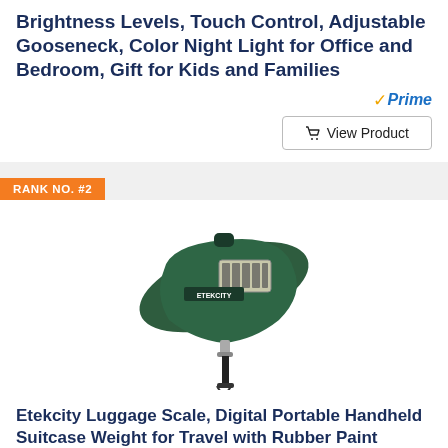Brightness Levels, Touch Control, Adjustable Gooseneck, Color Night Light for Office and Bedroom, Gift for Kids and Families
[Figure (other): Amazon Prime badge with checkmark]
[Figure (other): View Product button with shopping cart icon]
RANK NO. #2
[Figure (photo): Etekcity digital portable luggage scale in dark green with digital display and black strap]
Etekcity Luggage Scale, Digital Portable Handheld Suitcase Weight for Travel with Rubber Paint Temperature Sensor 110...